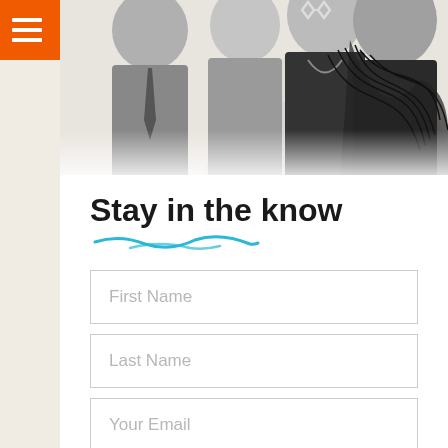[Figure (photo): Black and white photo of a group of people at an event, with one person wearing novelty glasses shaped like stars]
Stay in the know
[Figure (illustration): Hand-drawn blue underline/squiggle decoration beneath the title text]
First Name
Last Name
Your Email
eNewsletter